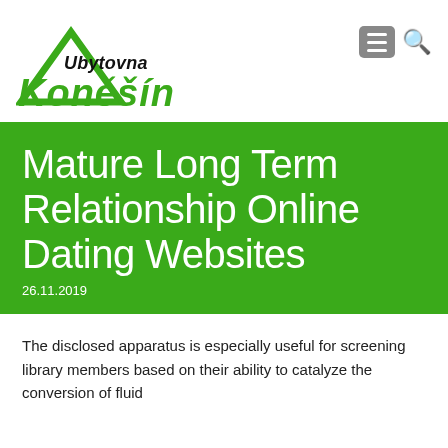[Figure (logo): Ubytovna Koněšín logo with green triangle and bold italic green text]
Mature Long Term Relationship Online Dating Websites
26.11.2019
The disclosed apparatus is especially useful for screening library members based on their ability to catalyze the conversion of fluid